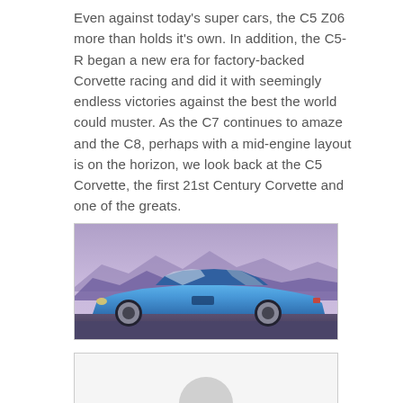Even against today's super cars, the C5 Z06 more than holds it's own. In addition, the C5-R began a new era for factory-backed Corvette racing and did it with seemingly endless victories against the best the world could muster. As the C7 continues to amaze and the C8, perhaps with a mid-engine layout is on the horizon, we look back at the C5 Corvette, the first 21st Century Corvette and one of the greats.
[Figure (photo): Blue C5 Corvette Z06 sports car parked on a road with purple mountains and a lavender sky in the background.]
[Figure (photo): Partially visible bottom image, appears to show a gray circular avatar or profile placeholder on a light gray background.]